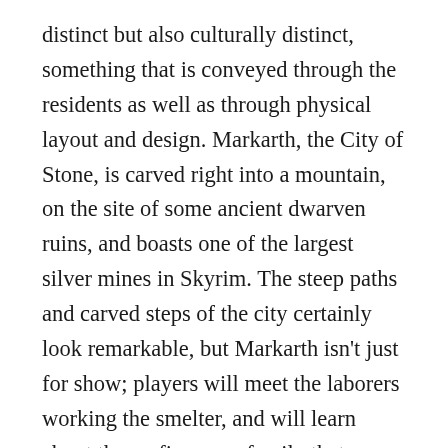distinct but also culturally distinct, something that is conveyed through the residents as well as through physical layout and design. Markarth, the City of Stone, is carved right into a mountain, on the site of some ancient dwarven ruins, and boasts one of the largest silver mines in Skyrim. The steep paths and carved steps of the city certainly look remarkable, but Markarth isn't just for show; players will meet the laborers working the smelter, and will learn about the mafia-esque family that runs the whole town, using prisoners to mine the silver. Players can even poke their noses into the family's business if they so choose. Riften, on the other side of Skyrim, has a completely different feel. A poor fishing town, built from rickety-looking wooden walkways around a central canal, Riften is plagued by crime. Even players who are not interested in joining the Thieves Guild will clearly feel its influence gripping